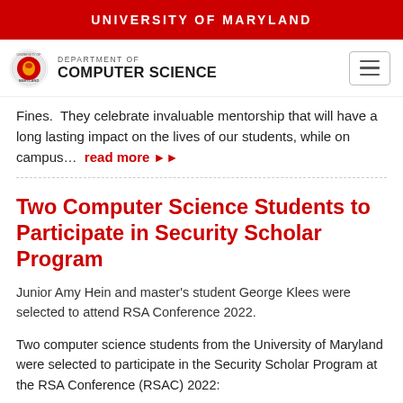UNIVERSITY OF MARYLAND
[Figure (logo): University of Maryland Department of Computer Science logo with UMD seal and text]
Fines.  They celebrate invaluable mentorship that will have a long lasting impact on the lives of our students, while on campus... read more
Two Computer Science Students to Participate in Security Scholar Program
Junior Amy Hein and master's student George Klees were selected to attend RSA Conference 2022.
Two computer science students from the University of Maryland were selected to participate in the Security Scholar Program at the RSA Conference (RSAC) 2022: